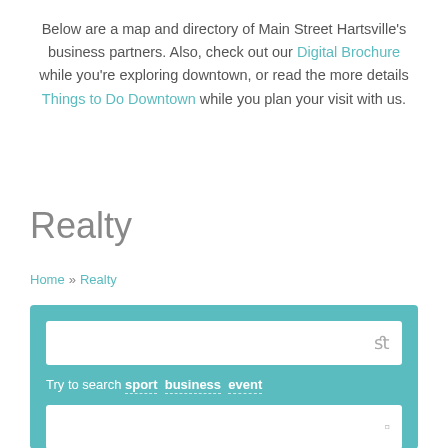Below are a map and directory of Main Street Hartsville's business partners. Also, check out our Digital Brochure while you're exploring downtown, or read the more details Things to Do Downtown while you plan your visit with us.
Realty
Home » Realty
[Figure (screenshot): Search widget with teal background, a text input field with a search icon, a hint 'Try to search sport business event', and a second input field below.]